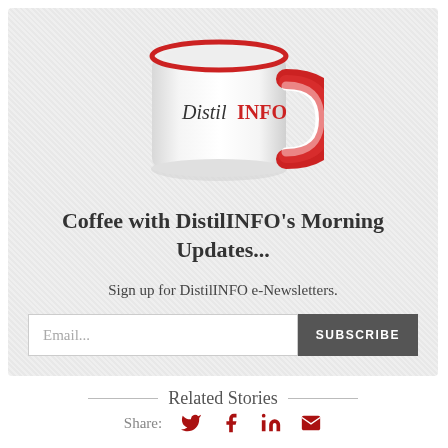[Figure (photo): A white coffee mug with red rim, handle, and interior, with 'DistilINFO' text on the mug (Distil in dark color, INFO in red), placed on a light gray textured background]
Coffee with DistilINFO's Morning Updates...
Sign up for DistilINFO e-Newsletters.
Email... SUBSCRIBE
Related Stories
Share: